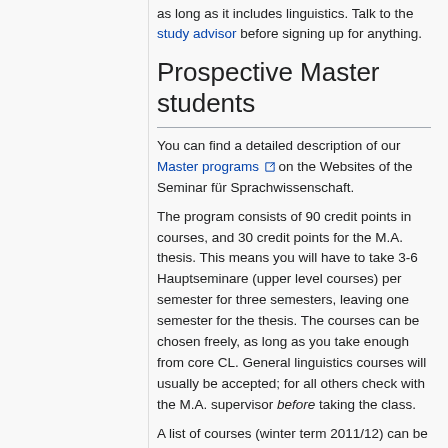as long as it includes linguistics. Talk to the study advisor before signing up for anything.
Prospective Master students
You can find a detailed description of our Master programs on the Websites of the Seminar für Sprachwissenschaft.
The program consists of 90 credit points in courses, and 30 credit points for the M.A. thesis. This means you will have to take 3-6 Hauptseminare (upper level courses) per semester for three semesters, leaving one semester for the thesis. The courses can be chosen freely, as long as you take enough from core CL. General linguistics courses will usually be accepted; for all others check with the M.A. supervisor before taking the class.
A list of courses (winter term 2011/12) can be obtained here.
If you do not have a B.A. in CL, you will also be required to take introductory courses in CL, for